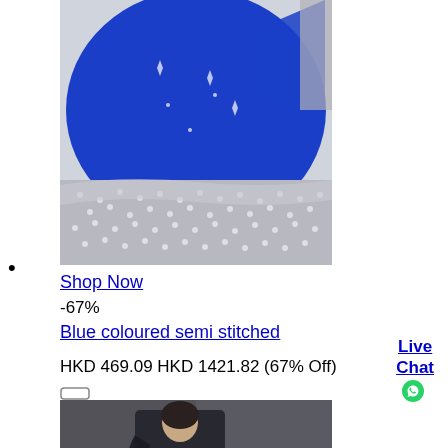[Figure (photo): Blue embroidered lehenga with silver sequin border on a white background]
•
Shop Now
-67%
Blue coloured semi stitched
HKD 469.09 HKD 1421.82 (67% Off)
[Figure (photo): Woman wearing black lehenga outfit with dupatta, standing near a floor lamp]
Live Chat